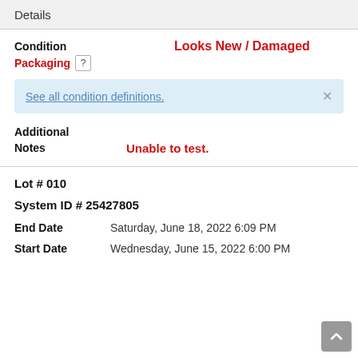Details
Condition   Looks New / Damaged
Packaging [?]
See all condition definitions.
Additional Notes   Unable to test.
Lot # 010
System ID # 25427805
End Date   Saturday, June 18, 2022 6:09 PM
Start Date   Wednesday, June 15, 2022 6:00 PM